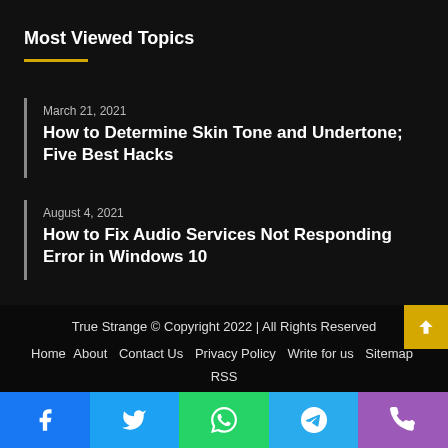Most Viewed Topics
March 21, 2021 — How to Determine Skin Tone and Undertone; Five Best Hacks
August 4, 2021 — How to Fix Audio Services Not Responding Error in Windows 10
March 21, 2021 — Ben Shapiro Net Worth
True Strange © Copyright 2022 | All Rights Reserved
Home | About | Contact Us | Privacy Policy | Write for us | Sitemap | RSS